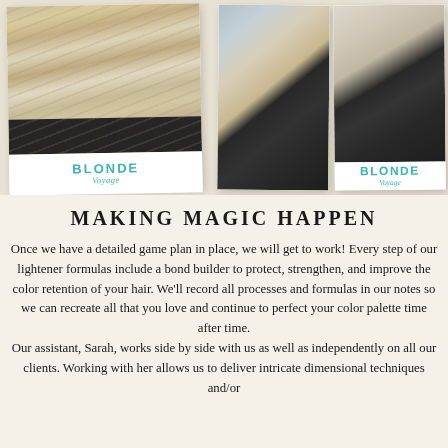[Figure (photo): Two polaroid-style photos of blonde hair salon results. Left photo shows long wavy blonde highlighted hair with 'BLONDE Voyage' label. Right shows two photos side by side of a woman with short blonde hair in a salon, also with 'BLONDE Voyage' label.]
MAKING MAGIC HAPPEN
Once we have a detailed game plan in place, we will get to work! Every step of our lightener formulas include a bond builder to protect, strengthen, and improve the color retention of your hair. We'll record all processes and formulas in our notes so we can recreate all that you love and continue to perfect your color palette time after time.
Our assistant, Sarah, works side by side with us as well as independently on all our clients. Working with her allows us to deliver intricate dimensional techniques and/or